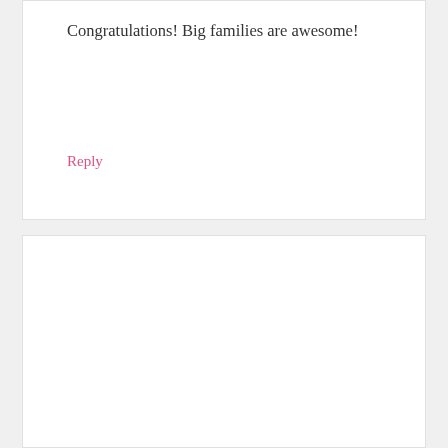Congratulations! Big families are awesome!
Reply
[Figure (illustration): Blue geometric/quilt pattern avatar icon for user Jeana]
JEANA says
JANUARY 20, 2012 AT 7:26 PM
This post popped up while I was on your homepage. I felt this was spoken straight to me today. My husband and I have prayed and felt led to have baby number